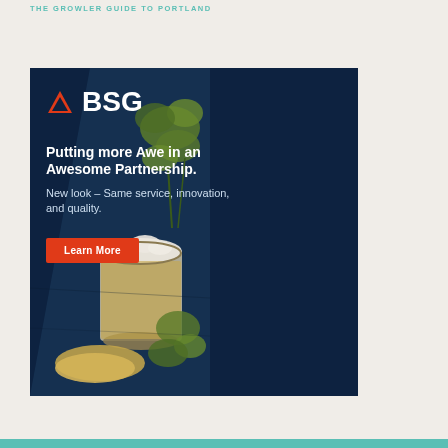THE GROWLER GUIDE TO PORTLAND
[Figure (illustration): BSG advertisement on dark navy background with hop flowers, beer glass, and grain. Logo shows orange triangle with 'BSG' text. Headline reads 'Putting more Awe in an Awesome Partnership.' Subtext: 'New look – Same service, innovation, and quality.' Orange 'Learn More' button.]